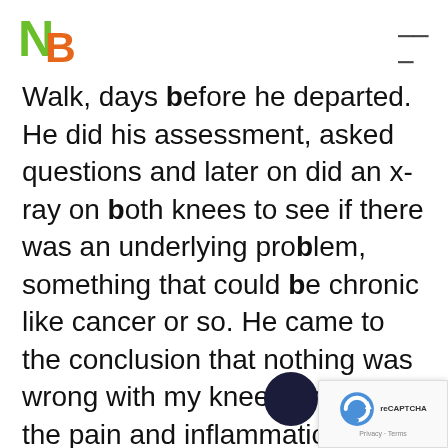NB logo and navigation menu
Walk, days before he departed. He did his assessment, asked questions and later on did an x-ray on both knees to see if there was an underlying problem, something that could be chronic like cancer or so. He came to the conclusion that nothing was wrong with my knees and that the pain and inflammation was due to the shape of my knees and how is positioned. I decided to accept his diagnosis and